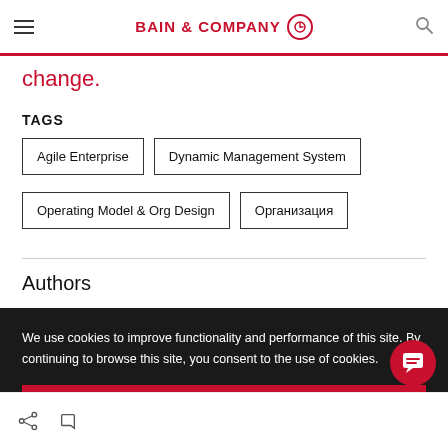BAIN & COMPANY
change.
TAGS
Agile Enterprise
Dynamic Management System
Operating Model & Org Design
Организация
Authors
We use cookies to improve functionality and performance of this site. By continuing to browse this site, you consent to the use of cookies.
ACCEPT ALL COOKIES